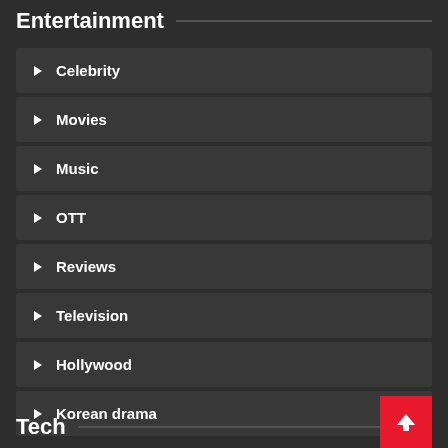Entertainment
Celebrity
Movies
Music
OTT
Reviews
Television
Hollywood
Korean drama
Tech